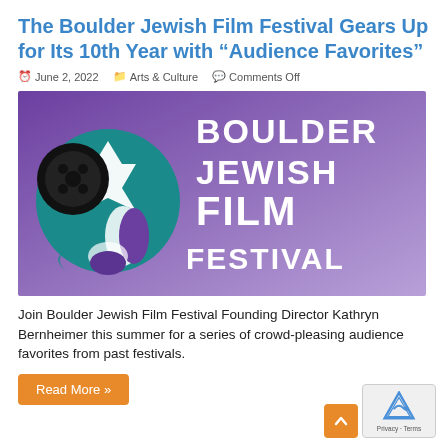The Boulder Jewish Film Festival Gears Up for Its 10th Year with “Audience Favorites”
June 2, 2022  Arts & Culture  Comments Off
[Figure (illustration): Boulder Jewish Film Festival logo/banner with purple gradient background, Star of David and film reel graphic on left, large white text reading BOULDER JEWISH FILM FESTIVAL on right]
Join Boulder Jewish Film Festival Founding Director Kathryn Bernheimer this summer for a series of crowd-pleasing audience favorites from past festivals.
Read More »